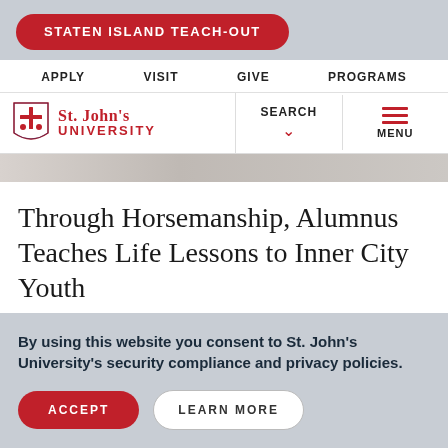[Figure (screenshot): St. John's University website screenshot showing navigation header with STATEN ISLAND TEACH-OUT banner button, nav links (APPLY, VISIT, GIVE, PROGRAMS), St. John's University logo, SEARCH and MENU controls, partial article image strip, article title 'Through Horsemanship, Alumnus Teaches Life Lessons to Inner City Youth', and a cookie consent overlay.]
STATEN ISLAND TEACH-OUT
APPLY  VISIT  GIVE  PROGRAMS
St. John's University
SEARCH
MENU
Through Horsemanship, Alumnus Teaches Life Lessons to Inner City Youth
By using this website you consent to St. John's University's security compliance and privacy policies.
ACCEPT
LEARN MORE